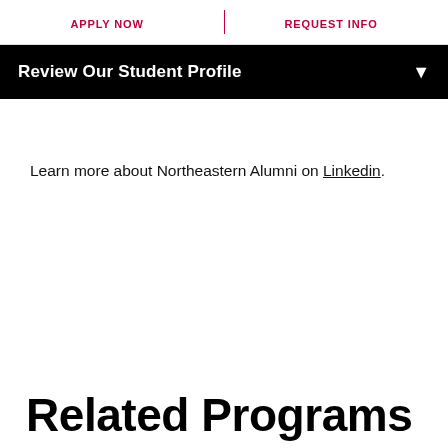APPLY NOW   REQUEST INFO
Review Our Student Profile
Learn more about Northeastern Alumni on Linkedin.
Related Programs